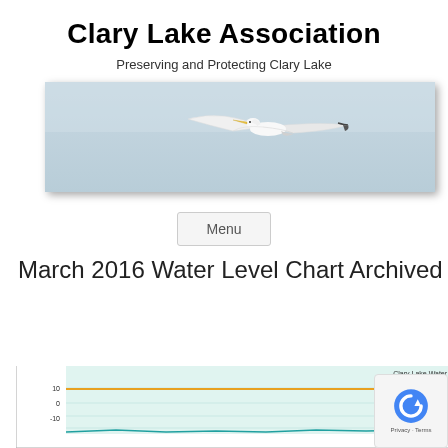Clary Lake Association
Preserving and Protecting Clary Lake
[Figure (photo): Wide panoramic banner photo of a white egret/heron in flight against a pale blue-grey sky background]
Menu
March 2016 Water Level Chart Archived
[Figure (line-chart): Clary Lake Water Level and Precipitation March 2016 (precipitation data from various sources) — partially visible line chart with orange and teal/green lines, y-axis showing values around 0-10 on left and 8.00-9.00 on right]